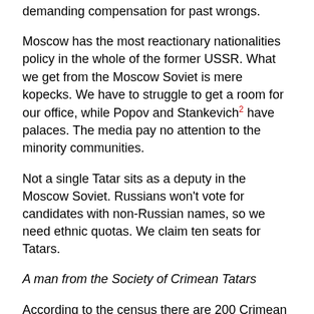demanding compensation for past wrongs.
Moscow has the most reactionary nationalities policy in the whole of the former USSR. What we get from the Moscow Soviet is mere kopecks. We have to struggle to get a room for our office, while Popov and Stankevich2 have palaces. The media pay no attention to the minority communities.
Not a single Tatar sits as a deputy in the Moscow Soviet. Russians won't vote for candidates with non-Russian names, so we need ethnic quotas. We claim ten seats for Tatars.
A man from the Society of Crimean Tatars
According to the census there are 200 Crimean Tatars in Moscow, but I personally know of 1,000. They conceal their origin and pretend to be Russians. On the buses I hear people muttering about "those accursed Tatars."3
A man from the Association of Karaim4